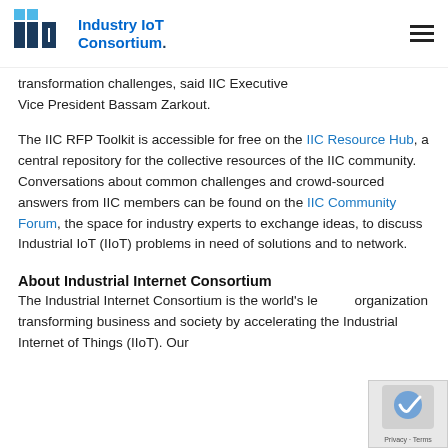Industry IoT Consortium
transformation challenges, said IIC Executive Vice President Bassam Zarkout.
The IIC RFP Toolkit is accessible for free on the IIC Resource Hub, a central repository for the collective resources of the IIC community. Conversations about common challenges and crowd-sourced answers from IIC members can be found on the IIC Community Forum, the space for industry experts to exchange ideas, to discuss Industrial IoT (IIoT) problems in need of solutions and to network.
About Industrial Internet Consortium
The Industrial Internet Consortium is the world's leading organization transforming business and society by accelerating the Industrial Internet of Things (IIoT). Our